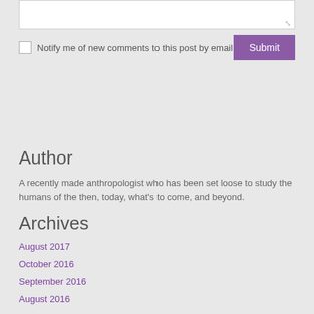Notify me of new comments to this post by email
Submit
Author
A recently made anthropologist who has been set loose to study the humans of the then, today, what’s to come, and beyond.
Archives
August 2017
October 2016
September 2016
August 2016